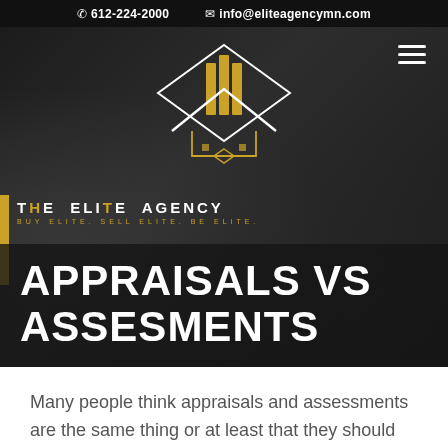612-224-2000   info@eliteagencymn.com
[Figure (logo): The Elite Agency logo — gold diamond shape with house silhouette and stylized E letterform, white outline on black background. Text: THE ELITE AGENCY / BUY ELITE. SELL ELITE. BE ELITE.]
APPRAISALS VS ASSESMENTS
Many people think appraisals and assessments are the same thing or at least that they should be for the